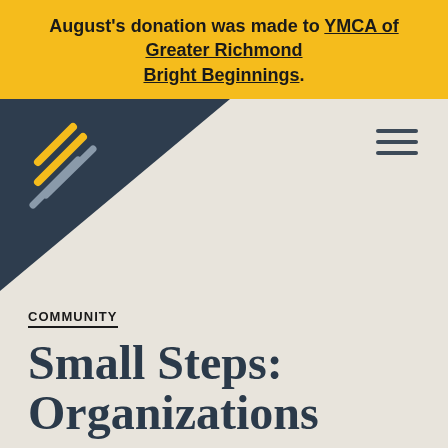August's donation was made to YMCA of Greater Richmond Bright Beginnings.
[Figure (logo): Company logo with angular arrow/chevron symbol in yellow and grey on dark navy triangular background, with hamburger menu icon on the right]
COMMUNITY
Small Steps: Organizations We're Supporting